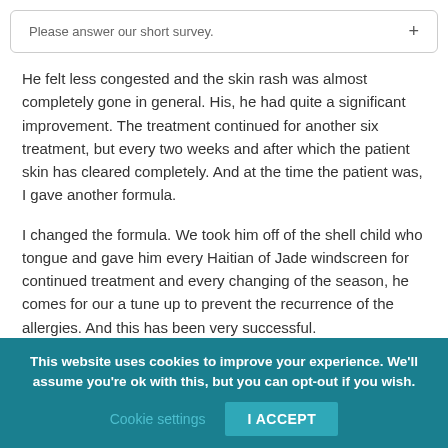Please answer our short survey.  +
He felt less congested and the skin rash was almost completely gone in general. His, he had quite a significant improvement. The treatment continued for another six treatment, but every two weeks and after which the patient skin has cleared completely. And at the time the patient was, I gave another formula.
I changed the formula. We took him off of the shell child who tongue and gave him every Haitian of Jade windscreen for continued treatment and every changing of the season, he comes for our a tune up to prevent the recurrence of the allergies. And this has been very successful.
This website uses cookies to improve your experience. We'll assume you're ok with this, but you can opt-out if you wish. Cookie settings  I ACCEPT